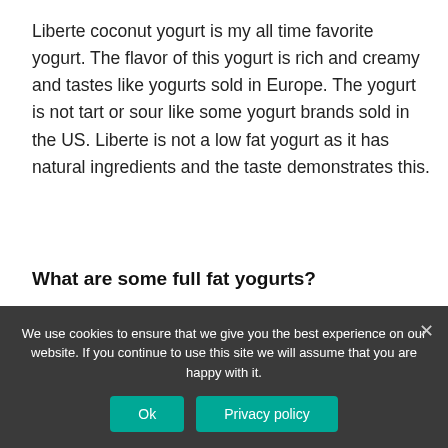Liberte coconut yogurt is my all time favorite yogurt. The flavor of this yogurt is rich and creamy and tastes like yogurts sold in Europe. The yogurt is not tart or sour like some yogurt brands sold in the US. Liberte is not a low fat yogurt as it has natural ingredients and the taste demonstrates this.
What are some full fat yogurts?
Full-Fat Yogurt Brands
We use cookies to ensure that we give you the best experience on our website. If you continue to use this site we will assume that you are happy with it.